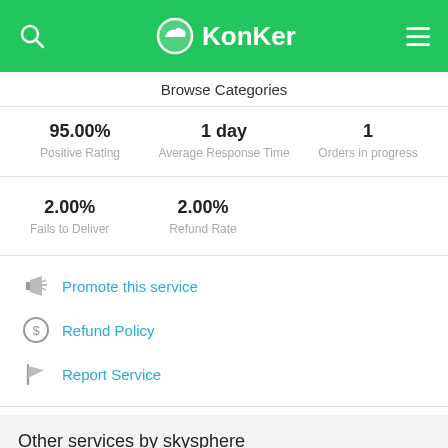KonKer
Browse Categories
| Metric | Value |
| --- | --- |
| Positive Rating | 95.00% |
| Average Response Time | 1 day |
| Orders in progress | 1 |
| Metric | Value |
| --- | --- |
| Fails to Deliver | 2.00% |
| Refund Rate | 2.00% |
Promote this service
Refund Policy
Report Service
Other services by skysphere